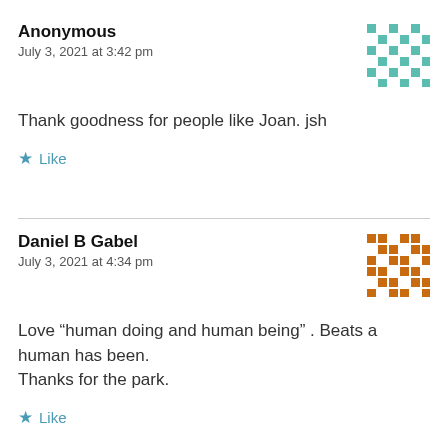Anonymous
July 3, 2021 at 3:42 pm
Thank goodness for people like Joan. jsh
★ Like
Daniel B Gabel
July 3, 2021 at 4:34 pm
Love “human doing and human being” . Beats a human has been.
Thanks for the park.
★ Like